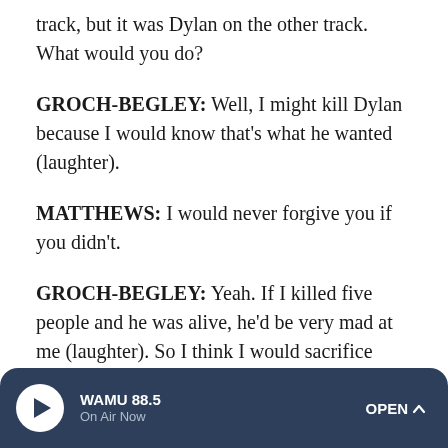track, but it was Dylan on the other track. What would you do?
GROCH-BEGLEY: Well, I might kill Dylan because I would know that's what he wanted (laughter).
MATTHEWS: I would never forgive you if you didn't.
GROCH-BEGLEY: Yeah. If I killed five people and he was alive, he'd be very mad at me (laughter). So I think I would sacrifice him, but I think it would be hard.
I think a split-second decision I would save Dylan because I think, you know, my instinct is to protect my loved ones.
WAMU 88.5 On Air Now OPEN